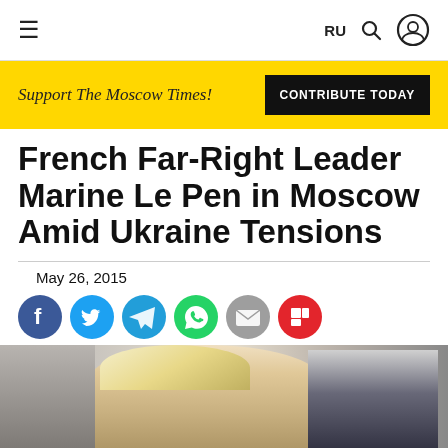≡   RU 🔍 👤
Support The Moscow Times!   CONTRIBUTE TODAY
French Far-Right Leader Marine Le Pen in Moscow Amid Ukraine Tensions
May 26, 2015
[Figure (other): Social sharing icons: Facebook, Twitter, Telegram, WhatsApp, Email, Flipboard]
[Figure (photo): Photo of Marine Le Pen smiling with a man in a suit behind her, outdoors]